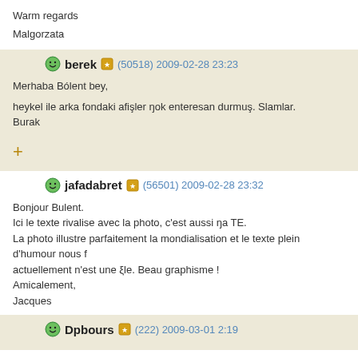Warm regards

Malgorzata
berek (50518) 2009-02-28 23:23
Merhaba Bólent bey,

heykel ile arka fondaki afişler ŋok enteresan durmuş. Slamlar.
Burak
+
jafadabret (56501) 2009-02-28 23:32
Bonjour Bulent.
Ici le texte rivalise avec la photo, c'est aussi ŋa TE.
La photo illustre parfaitement la mondialisation et le texte plein d'humour nous f
actuellement n'est une ξle. Beau graphisme !
Amicalement,
Jacques
Dpbours (222) 2009-03-01 2:19